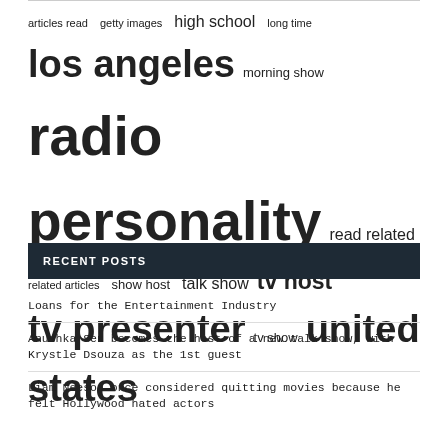[Figure (other): Tag cloud with terms of varying sizes: articles read, getty images, high school, long time, los angeles, morning show, radio personality, read related, related articles, show host, talk show, tv host, tv presenter, tv show, united states]
RECENT POSTS
Loans for the Entertainment Industry
Anushka Sen becomes the host of a new talk show, with Krystle Dsouza as the 1st guest
Liam Neeson once considered quitting movies because he felt Hollywood hated actors